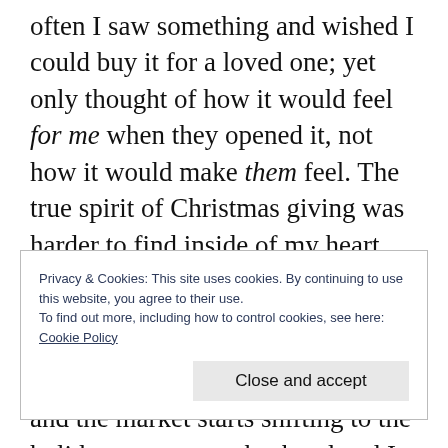often I saw something and wished I could buy it for a loved one; yet only thought of how it would feel for me when they opened it, not how it would make them feel. The true spirit of Christmas giving was harder to find inside of my heart than I had expected.

This year, as we see people starting to post about Christmas shopping and the market starts shifting to the holiday season, my husband and I are getting excited.
Privacy & Cookies: This site uses cookies. By continuing to use this website, you agree to their use.
To find out more, including how to control cookies, see here:
Cookie Policy

Close and accept